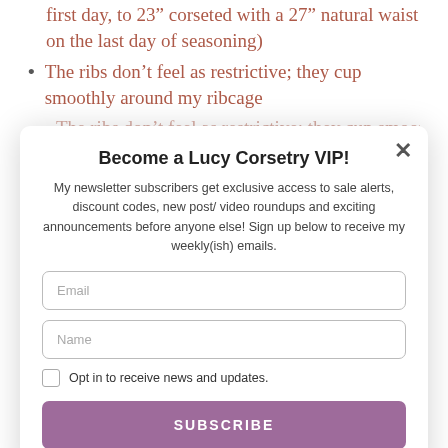first day, to 23" corseted with a 27" natural waist on the last day of seasoning)
The ribs don't feel as restrictive; they cup smoothly around my ribcage
(partial, cut off)
Become a Lucy Corsetry VIP!
My newsletter subscribers get exclusive access to sale alerts, discount codes, new post/ video roundups and exciting announcements before anyone else! Sign up below to receive my weekly(ish) emails.
Email
Name
Opt in to receive news and updates.
SUBSCRIBE